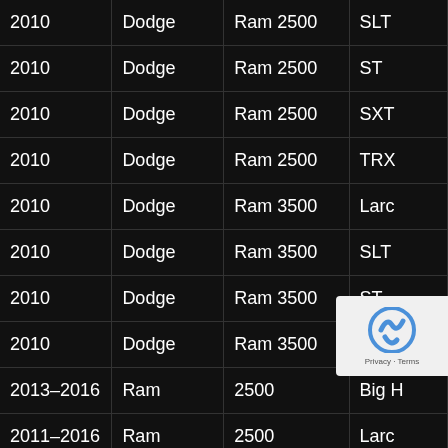| Year | Make | Model | Trim |
| --- | --- | --- | --- |
| 2010 | Dodge | Ram 2500 | SLT |
| 2010 | Dodge | Ram 2500 | ST |
| 2010 | Dodge | Ram 2500 | SXT |
| 2010 | Dodge | Ram 2500 | TRX |
| 2010 | Dodge | Ram 3500 | Lara… |
| 2010 | Dodge | Ram 3500 | SLT |
| 2010 | Dodge | Ram 3500 | ST |
| 2010 | Dodge | Ram 3500 | SXT |
| 2013–2016 | Ram | 2500 | Big H… |
| 2011–2016 | Ram | 2500 | Lara… |
| 2014–2015 | Ram | 2500 | Lara… Limi… |
| 2011–2016 | Ram | 2500 |  |
| 2016 | Ram | 2500 | Limi… |